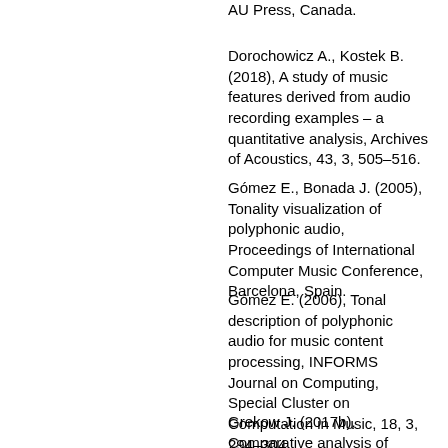AU Press, Canada.
Dorochowicz A., Kostek B. (2018), A study of music features derived from audio recording examples – a quantitative analysis, Archives of Acoustics, 43, 3, 505–516.
Gómez E., Bonada J. (2005), Tonality visualization of polyphonic audio, Proceedings of International Computer Music Conference, Barcelona, Spain.
Gómez E. (2006), Tonal description of polyphonic audio for music content processing, INFORMS Journal on Computing, Special Cluster on Computation in Music, 18, 3, 294–304.
Grekow J. (2017a), Audio features dedicated to the detection of arousal and valence in music recordings, IEEE International Conference on Innovations in Intelligent Systems and Applications, pp. 40–44, Gdynia.
Grekow J. (2017b), Comparative analysis of musical performances by using emotion tracking, 23nd...